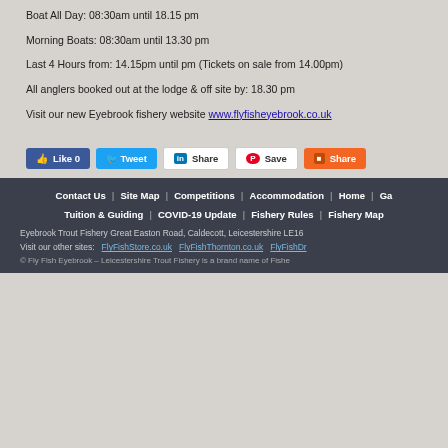Boat All Day: 08:30am until 18.15 pm
Morning Boats: 08:30am until 13.30 pm
Last 4 Hours from: 14.15pm until pm (Tickets on sale from 14.00pm)
All anglers booked out at the lodge & off site by: 18.30 pm
Visit our new Eyebrook fishery website www.flyfisheyebrook.co.uk
[Figure (other): Social sharing buttons: Like 0 (Facebook), Tweet (Twitter), Share (LinkedIn), Save (Pinterest), Share (orange button)]
Contact Us | Site Map | Competitions | Accommodation | Home | Ga... | Tuition & Guiding | COVID-19 Update | Fishery Rules | Fishery Map... | Eyebrook Trout Fishery Great Easton Road, Caldecott, Leicestershire LE16 | Visit our other sites: FlyFishStore.co.uk  FlyFishThornton.co.uk  FlyFishDr... | © Fly Fish Eyebrook – Leicestershire Trout Fishery is a brand name of Fishe...